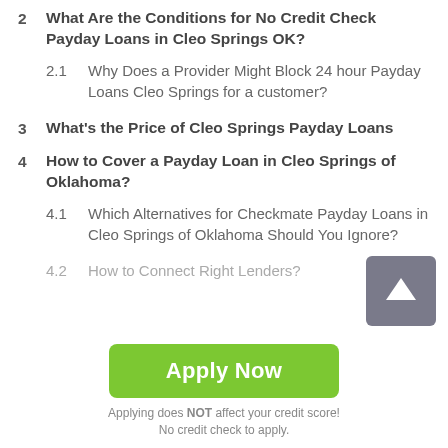2  What Are the Conditions for No Credit Check Payday Loans in Cleo Springs OK?
2.1  Why Does a Provider Might Block 24 hour Payday Loans Cleo Springs for a customer?
3  What's the Price of Cleo Springs Payday Loans
4  How to Cover a Payday Loan in Cleo Springs of Oklahoma?
4.1  Which Alternatives for Checkmate Payday Loans in Cleo Springs of Oklahoma Should You Ignore?
4.2  How to Connect Right Lenders?
Apply Now
Applying does NOT affect your credit score!
No credit check to apply.